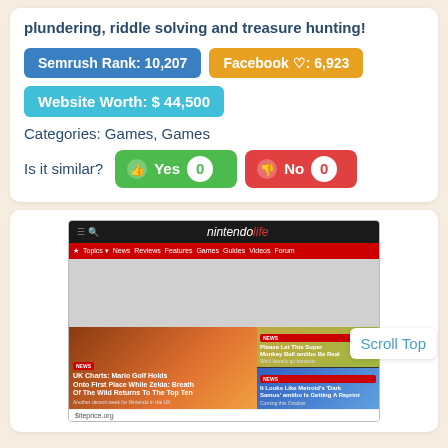plundering, riddle solving and treasure hunting!
Semrush Rank: 10,207
Facebook ♡: 6,923
Website Worth: $ 44,500
Categories: Games, Games
Is it similar?  Yes 0  No 0
[Figure (screenshot): Screenshot of nintendolife website showing navigation bar, gray content area, and news articles including 'UK Charts: Mario Golf Holds Onto First Place While Zelda: Breath Of The Wild Returns To The Top Ten' and other articles. A 'Scroll Top' button is visible on the right side.]